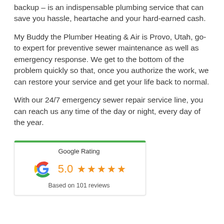backup – is an indispensable plumbing service that can save you hassle, heartache and your hard-earned cash.
My Buddy the Plumber Heating & Air is Provo, Utah, go-to expert for preventive sewer maintenance as well as emergency response. We get to the bottom of the problem quickly so that, once you authorize the work, we can restore your service and get your life back to normal.
With our 24/7 emergency sewer repair service line, you can reach us any time of the day or night, every day of the year.
[Figure (infographic): Google Rating widget showing 5.0 stars based on 101 reviews, with Google G logo and green top border]